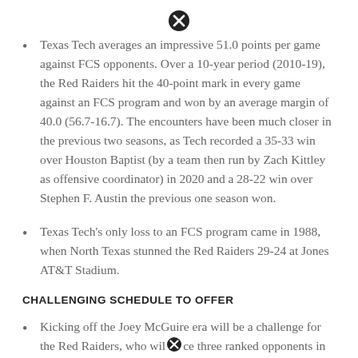[Figure (other): Close/X button icon at top center]
Texas Tech averages an impressive 51.0 points per game against FCS opponents. Over a 10-year period (2010-19), the Red Raiders hit the 40-point mark in every game against an FCS program and won by an average margin of 40.0 (56.7-16.7). The encounters have been much closer in the previous two seasons, as Tech recorded a 35-33 win over Houston Baptist (by a team then run by Zach Kittley as offensive coordinator) in 2020 and a 28-22 win over Stephen F. Austin the previous one season won.
Texas Tech's only loss to an FCS program came in 1988, when North Texas stunned the Red Raiders 29-24 at Jones AT&T Stadium.
CHALLENGING SCHEDULE TO OFFER
Kicking off the Joey McGuire era will be a challenge for the Red Raiders, who will face three ranked opponents in